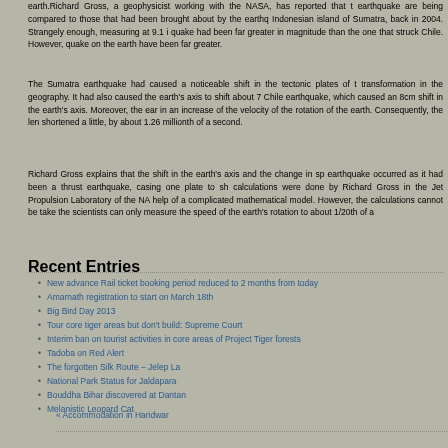earth.Richard Gross, a geophysicist working with the NASA, has reported that the earthquake are being compared to those that had been brought about by the earthquake Indonesian island of Sumatra, back in 2004. Strangely enough, measuring at 9.1 in quake had been far greater in magnitude than the one that struck Chile. However, quake on the earth have been far greater.
The Sumatra earthquake had caused a noticeable shift in the tectonic plates of the transformation in the geography. It had also caused the earth's axis to shift about 7c Chile earthquake, which caused an 8cm shift in the earth's axis. Moreover, the earth in an increase of the velocity of the rotation of the earth. Consequently, the leng shortened a little, by about 1.26 millionth of a second.
Richard Gross explains that the shift in the earth's axis and the change in spee earthquake occurred as it had been a thrust earthquake, casing one plate to shi calculations were done by Richard Gross in the Jet Propulsion Laboratory of the NAS help of a complicated mathematical model. However, the calculations cannot be taken the scientists can only measure the speed of the earth's rotation to about 1/20th of a s
Recent Entries
New advance Rail ticket booking period reduced to 2 months from today
Amarnath registration to start on March 18th
Big Bird Day 2013
Tour core tiger areas but don't build: Supreme Court
Interim ban on tourist activities in core areas of Project Tiger forests
Tadoba on Red Alert
The forgotten Silk Route – Jelep La
National Park Status for Jaldapara
Bouddha Bihar discovered at Dantan
Melanistic Leopard Cat
« Accommodation in Haridwar    Udan...